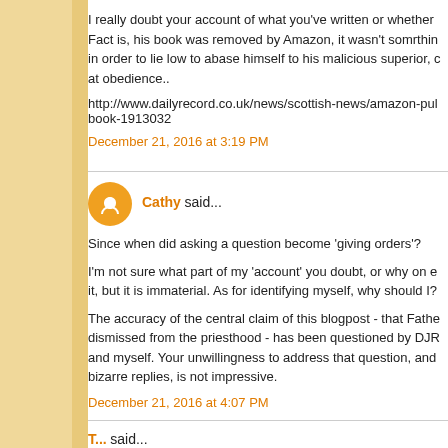I really doubt your account of what you've written or whether Fact is, his book was removed by Amazon, it wasn't somrthin in order to lie low to abase himself to his malicious superior, c at obedience..
http://www.dailyrecord.co.uk/news/scottish-news/amazon-pul book-1913032
December 21, 2016 at 3:19 PM
Cathy said...
Since when did asking a question become 'giving orders'?
I'm not sure what part of my 'account' you doubt, or why on e it, but it is immaterial. As for identifying myself, why should I?
The accuracy of the central claim of this blogpost - that Fathe dismissed from the priesthood - has been questioned by DJR and myself. Your unwillingness to address that question, and bizarre replies, is not impressive.
December 21, 2016 at 4:07 PM
T... said...